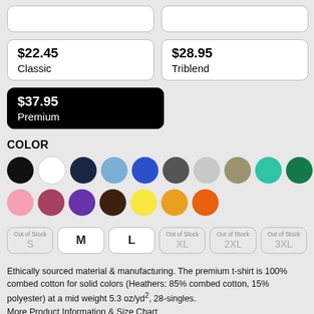$22.45 Classic
$28.95 Triblend
$37.95 Premium
COLOR
[Figure (other): Color swatches: black, white, navy, light blue, royal blue, charcoal, silver, olive/tan, teal, forest green, army green, red, maroon (selected), pink, mauve, purple, dark brown, yellow, gold/amber, orange]
Out of Stock S  M  L  Out of Stock XL  Out of Stock 2XL  Out of Stock 3XL
Ethically sourced material & manufacturing. The premium t-shirt is 100% combed cotton for solid colors (Heathers: 85% combed cotton, 15% polyester) at a mid weight 5.3 oz/yd², 28-singles.
More Product Information & Size Chart